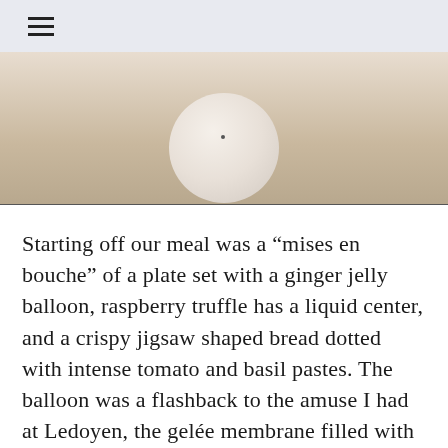≡
[Figure (photo): Close-up photo of a white ceramic plate or bowl with a small dark dot, set against a warm beige/cream background, cropped to show just the upper portion of the plate.]
Starting off our meal was a “mises en bouche” of a plate set with a ginger jelly balloon, raspberry truffle has a liquid center, and a crispy jigsaw shaped bread dotted with intense tomato and basil pastes. The balloon was a flashback to the amuse I had at Ledoyen, the gelée membrane filled with a clear ginger juice. It’s then followed by tabouleh from Brittany; a chilled, flavorful refreshing vegetarian dish. A basket of cheese and